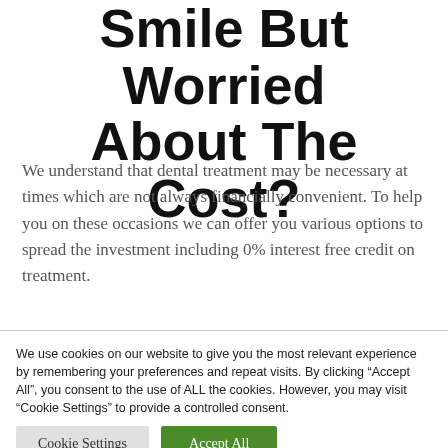Smile But Worried About The Cost?
We understand that dental treatment may be necessary at times which are not always financially convenient. To help you on these occasions we can offer you various options to spread the investment including 0% interest free credit on treatment.
We use cookies on our website to give you the most relevant experience by remembering your preferences and repeat visits. By clicking “Accept All”, you consent to the use of ALL the cookies. However, you may visit "Cookie Settings" to provide a controlled consent.